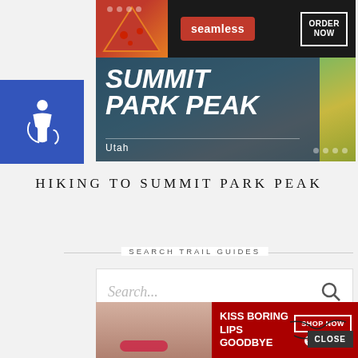[Figure (screenshot): Accessibility wheelchair icon on blue background, positioned on left side]
[Figure (screenshot): Seamless food delivery advertisement with pizza image, seamless logo in red, and ORDER NOW button]
[Figure (photo): Hero banner image showing Summit Park Peak trail with yellow wildflowers in background, blue overlay with white italic bold text reading SUMMIT PARK PEAK and Utah subtitle, with navigation dots]
HIKING TO SUMMIT PARK PEAK
SEARCH TRAIL GUIDES
[Figure (screenshot): Search input field with placeholder text Search... and search icon]
[Figure (screenshot): Macy's advertisement with KISS BORING LIPS GOODBYE text, model face, SHOP NOW button and Macy's star logo]